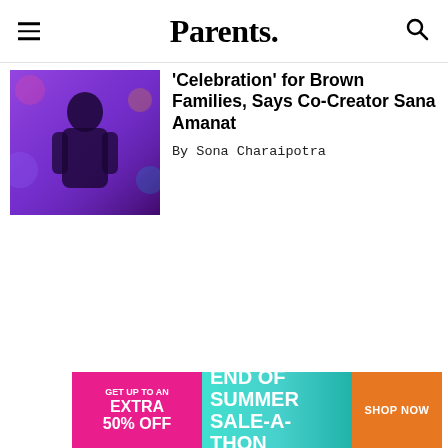Parents.
[Figure (photo): Person wearing blue outfit in a colorful room with purple lighting]
'Celebration' for Brown Families, Says Co-Creator Sana Amanat
By Sona Charaipotra
Ad
[Figure (infographic): Advertisement banner: GET UP TO AN EXTRA 50% OFF | END OF SUMMER SALE-A-THON | SHOP NOW]